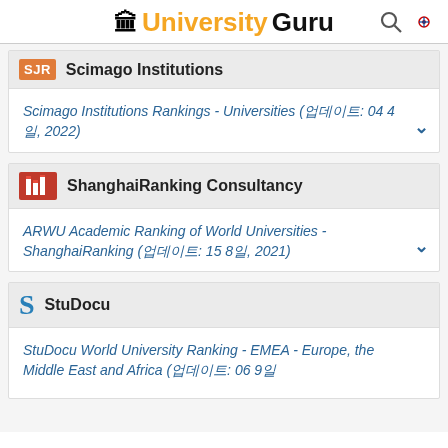UniversityGuru
Scimago Institutions
Scimago Institutions Rankings - Universities (업데이트: 04 4일, 2022)
ShanghaiRanking Consultancy
ARWU Academic Ranking of World Universities - ShanghaiRanking (업데이트: 15 8일, 2021)
StuDocu
StuDocu World University Ranking - EMEA - Europe, the Middle East and Africa (업데이트: 06 9일